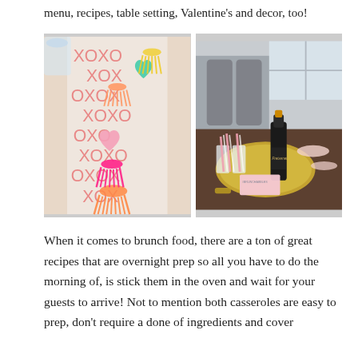menu, recipes, table setting, Valentine's and decor, too!
[Figure (photo): Two side-by-side photos: left shows a table runner with XOXO pattern and colorful yarn tassels and felt hearts; right shows a dining table centerpiece with a gold tray, champagne bottle, glasses, pink striped straws, and pink notecards.]
When it comes to brunch food, there are a ton of great recipes that are overnight prep so all you have to do the morning of, is stick them in the oven and wait for your guests to arrive! Not to mention both casseroles are easy to prep, don't require a done of ingredients and cover